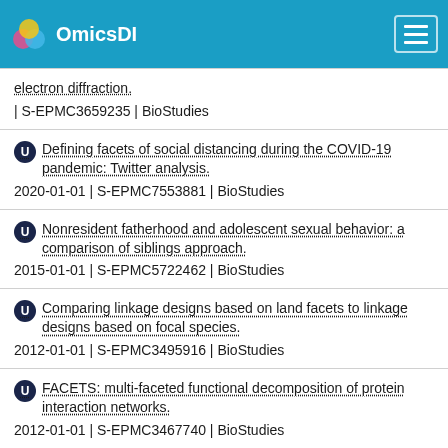OmicsDI
electron diffraction.
| S-EPMC3659235 | BioStudies
Defining facets of social distancing during the COVID-19 pandemic: Twitter analysis.
2020-01-01 | S-EPMC7553881 | BioStudies
Nonresident fatherhood and adolescent sexual behavior: a comparison of siblings approach.
2015-01-01 | S-EPMC5722462 | BioStudies
Comparing linkage designs based on land facets to linkage designs based on focal species.
2012-01-01 | S-EPMC3495916 | BioStudies
FACETS: multi-faceted functional decomposition of protein interaction networks.
2012-01-01 | S-EPMC3467740 | BioStudies